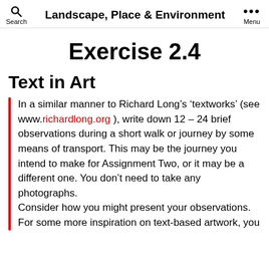Search   Landscape, Place & Environment   Menu
Exercise 2.4
Text in Art
In a similar manner to Richard Long’s ‘textworks’ (see www.richardlong.org ), write down 12 – 24 brief observations during a short walk or journey by some means of transport. This may be the journey you intend to make for Assignment Two, or it may be a different one. You don’t need to take any photographs.
Consider how you might present your observations. For some more inspiration on text-based artwork, you